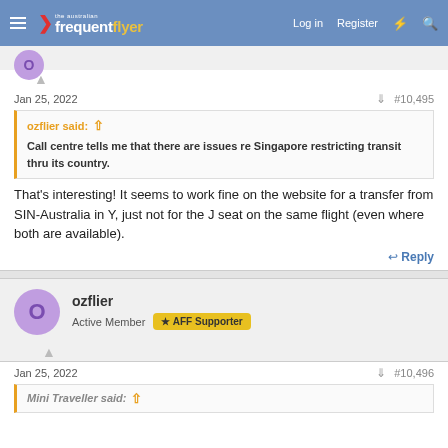The Australian Frequent Flyer — Log in | Register
Jan 25, 2022  #10,495
ozflier said: ↑
Call centre tells me that there are issues re Singapore restricting transit thru its country.
That's interesting! It seems to work fine on the website for a transfer from SIN-Australia in Y, just not for the J seat on the same flight (even where both are available).
↩ Reply
ozflier
Active Member  ★ AFF Supporter
Jan 25, 2022  #10,496